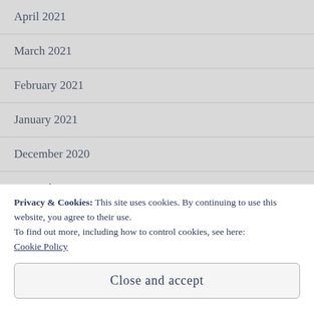April 2021
March 2021
February 2021
January 2021
December 2020
November 2020
October 2020
Privacy & Cookies: This site uses cookies. By continuing to use this website, you agree to their use.
To find out more, including how to control cookies, see here:
Cookie Policy
Close and accept